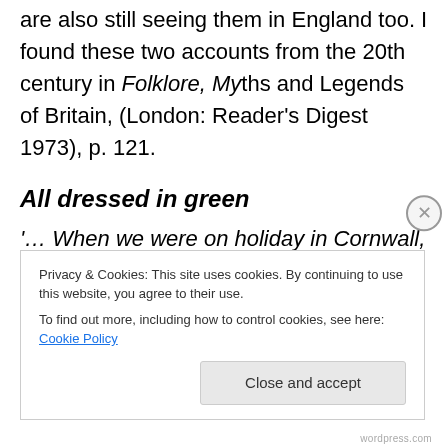are also still seeing them in England too. I found these two accounts from the 20th century in Folklore, Myths and Legends of Britain, (London: Reader's Digest 1973), p. 121.
All dressed in green
'… When we were on holiday in Cornwall, my daughter and I came down a winding lane, and
Privacy & Cookies: This site uses cookies. By continuing to use this website, you agree to their use.
To find out more, including how to control cookies, see here: Cookie Policy
Close and accept